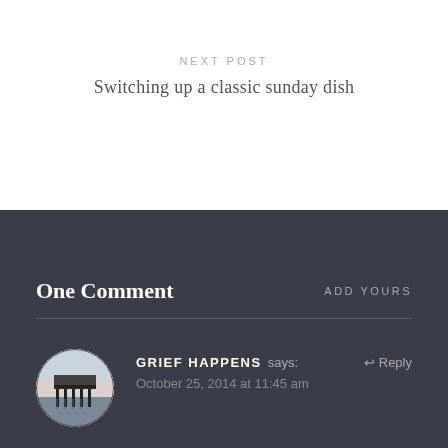NEXT POST
Switching up a classic sunday dish
One Comment
ADD YOURS
[Figure (photo): Circular avatar image showing a pier/dock over water at dusk with a pale sky]
GRIEF HAPPENS says:
↩ Reply
October 25, 2014 at 11:45 am